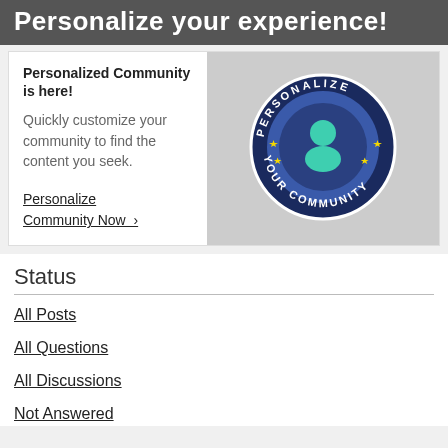Personalize your experience!
Personalized Community is here!

Quickly customize your community to find the content you seek.
Personalize Community Now  >
[Figure (illustration): Circular badge/logo with text 'PERSONALIZE YOUR COMMUNITY' around the border on a dark navy background, two yellow stars on the sides, and a blue/teal person silhouette icon in the center.]
Status
All Posts
All Questions
All Discussions
Not Answered